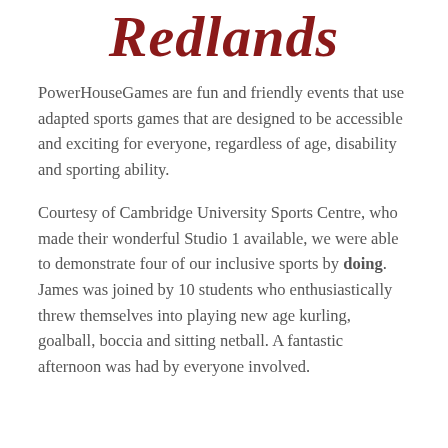[Figure (logo): Redlands logo text in dark red serif italic font]
PowerHouseGames are fun and friendly events that use adapted sports games that are designed to be accessible and exciting for everyone, regardless of age, disability and sporting ability.
Courtesy of Cambridge University Sports Centre, who made their wonderful Studio 1 available, we were able to demonstrate four of our inclusive sports by doing. James was joined by 10 students who enthusiastically threw themselves into playing new age kurling, goalball, boccia and sitting netball. A fantastic afternoon was had by everyone involved.